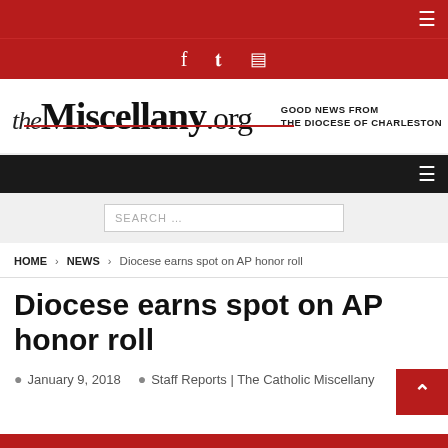theMiscellany.org — GOOD NEWS FROM THE DIOCESE OF CHARLESTON
SEARCH ...
HOME > NEWS > Diocese earns spot on AP honor roll
Diocese earns spot on AP honor roll
January 9, 2018  Staff Reports | The Catholic Miscellany